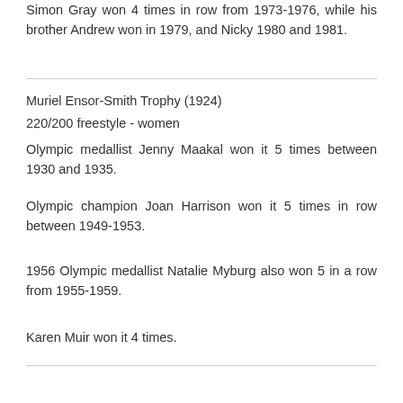Simon Gray won 4 times in row from 1973-1976, while his brother Andrew won in 1979, and Nicky 1980 and 1981.
Muriel Ensor-Smith Trophy (1924)
220/200 freestyle - women
Olympic medallist Jenny Maakal won it 5 times between 1930 and 1935.
Olympic champion Joan Harrison won it 5 times in row between 1949-1953.
1956 Olympic medallist Natalie Myburg also won 5 in a row from 1955-1959.
Karen Muir won it 4 times.